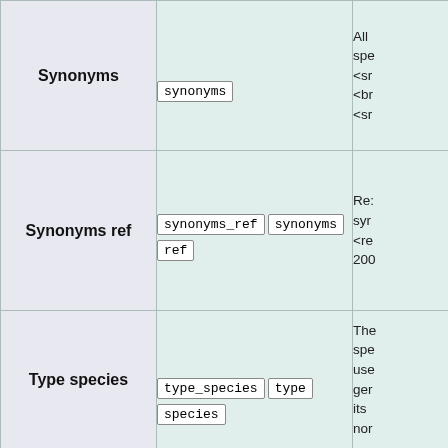| Field | Tokens | Description |
| --- | --- | --- |
| Synonyms | synonyms | All
spe
<sr
<br
<sr |
| Synonyms ref | synonyms_ref  synonyms
ref | Re:
syr
<re
200 |
| Type species | type_species  type
species | The
spe
use
ger
its 
nor |